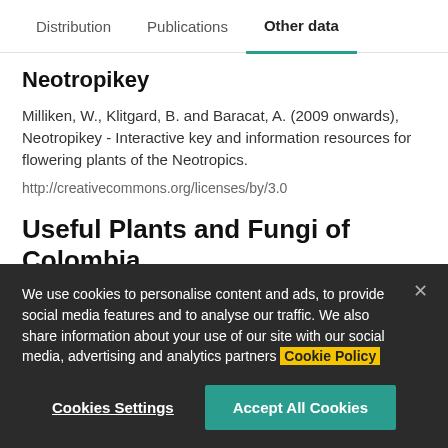Distribution | Publications | Other data
Neotropikey
Milliken, W., Klitgard, B. and Baracat, A. (2009 onwards), Neotropikey - Interactive key and information resources for flowering plants of the Neotropics.
http://creativecommons.org/licenses/by/3.0
Useful Plants and Fungi of Colombia
We use cookies to personalise content and ads, to provide social media features and to analyse our traffic. We also share information about your use of our site with our social media, advertising and analytics partners Cookie Policy
Cookies Settings | Accept All Cookies